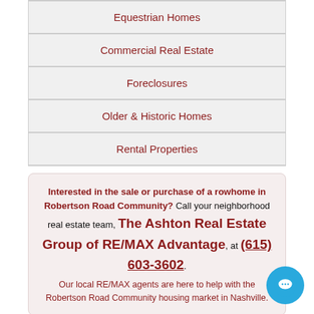Equestrian Homes
Commercial Real Estate
Foreclosures
Older & Historic Homes
Rental Properties
Interested in the sale or purchase of a rowhome in Robertson Road Community? Call your neighborhood real estate team, The Ashton Real Estate Group of RE/MAX Advantage, at (615) 603-3602. Our local RE/MAX agents are here to help with the Robertson Road Community housing market in Nashville.
Robertson Rd Community Townhome Agents
Planning to buy or sell a townhouse or condo